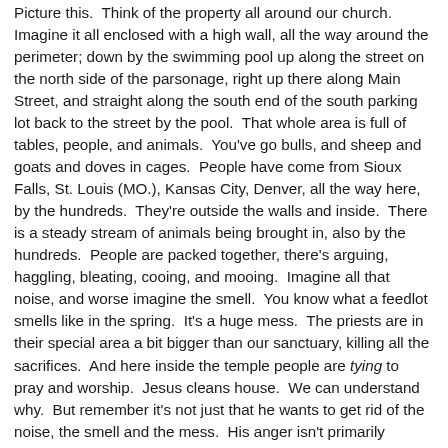Picture this.  Think of the property all around our church.  Imagine it all enclosed with a high wall, all the way around the perimeter; down by the swimming pool up along the street on the north side of the parsonage, right up there along Main Street, and straight along the south end of the south parking lot back to the street by the pool.  That whole area is full of tables, people, and animals.  You've go bulls, and sheep and goats and doves in cages.  People have come from Sioux Falls, St. Louis (MO.), Kansas City, Denver, all the way here, by the hundreds.  They're outside the walls and inside.  There is a steady stream of animals being brought in, also by the hundreds.  People are packed together, there's arguing, haggling, bleating, cooing, and mooing.  Imagine all that noise, and worse imagine the smell.  You know what a feedlot smells like in the spring.  It's a huge mess.  The priests are in their special area a bit bigger than our sanctuary, killing all the sacrifices.  And here inside the temple people are tying to pray and worship.  Jesus cleans house.  We can understand why.  But remember it's not just that he wants to get rid of the noise, the smell and the mess.  His anger isn't primarily pointed at the greedy buyers and sellers.  He's angry at something more than the fact that you can't hear yourself pray.  The sin is...